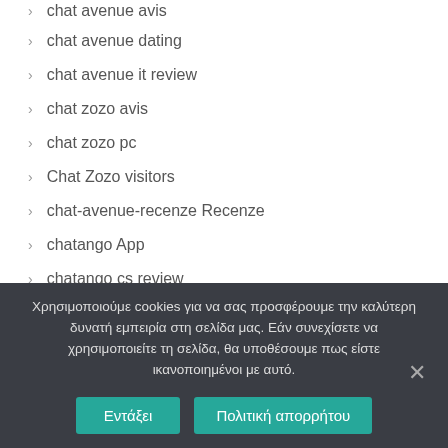chat avenue avis
chat avenue dating
chat avenue it review
chat zozo avis
chat zozo pc
Chat Zozo visitors
chat-avenue-recenze Recenze
chatango App
chatango cs review
Χρησιμοποιούμε cookies για να σας προσφέρουμε την καλύτερη δυνατή εμπειρία στη σελίδα μας. Εάν συνεχίσετε να χρησιμοποιείτε τη σελίδα, θα υποθέσουμε πως είστε ικανοποιημένοι με αυτό.
Εντάξει | Πολιτική απορρήτου